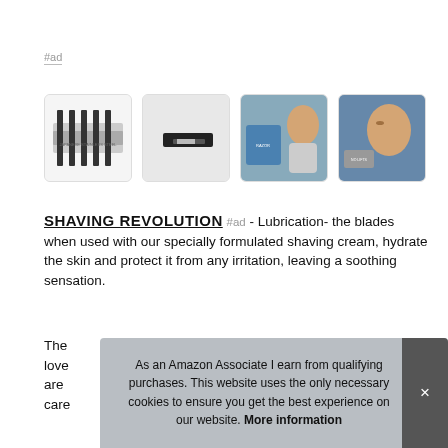#ad
[Figure (photo): Four product images of shaving blades/razors with a man's face shown in product advertisements]
SHAVING REVOLUTION #ad - Lubrication- the blades when used with our specially formulated shaving cream, hydrate the skin and protect it from any irritation, leaving a soothing sensation.
The...love...are...care...
As an Amazon Associate I earn from qualifying purchases. This website uses the only necessary cookies to ensure you get the best experience on our website. More information